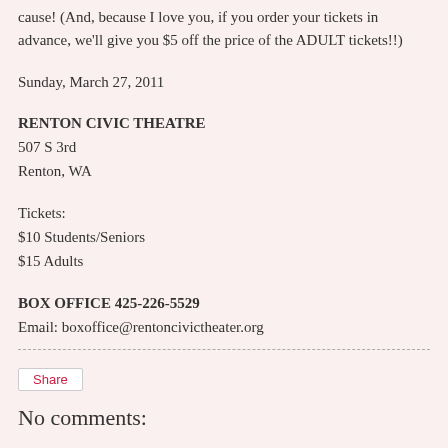cause! (And, because I love you, if you order your tickets in advance, we'll give you $5 off the price of the ADULT tickets!!)
Sunday, March 27, 2011
RENTON CIVIC THEATRE
507 S 3rd
Renton, WA
Tickets:
$10 Students/Seniors
$15 Adults
BOX OFFICE 425-226-5529
Email: boxoffice@rentoncivictheater.org
Share
No comments: